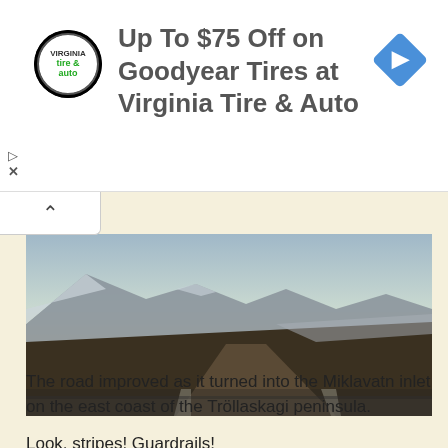[Figure (other): Advertisement banner: Virginia Tire & Auto logo (circular black badge), text 'Up To $75 Off on Goodyear Tires at Virginia Tire & Auto', blue diamond navigation icon on right, play and close (X) controls on left]
[Figure (photo): Winter landscape photo taken from a moving vehicle: a gravel road curving along the Miklavatn inlet on the east coast of the Tröllaskagi peninsula in Iceland. Snow-covered mountains and a calm inlet visible in the background under a pale sunset sky.]
The road improved as it turned into the Miklavatn inlet on the east coast of the Tröllaskagi peninsula.
Look, stripes! Guardrails!